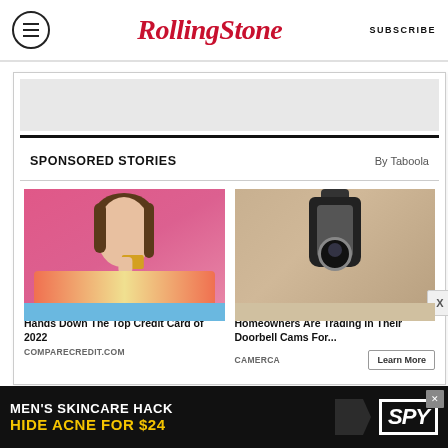Rolling Stone — SUBSCRIBE
SPONSORED STORIES · By Taboola
[Figure (photo): Woman with dark hair on pink background holding a credit card]
Hands Down The Top Credit Card of 2022
COMPARECREDIT.COM
[Figure (photo): Security camera mounted on an outdoor wall lamp on stone wall]
Homeowners Are Trading In Their Doorbell Cams For...
CAMERCA
Learn More
[Figure (photo): Bottom advertisement banner: MEN'S SKINCARE HACK HIDE ACNE FOR $24 with SPY logo]